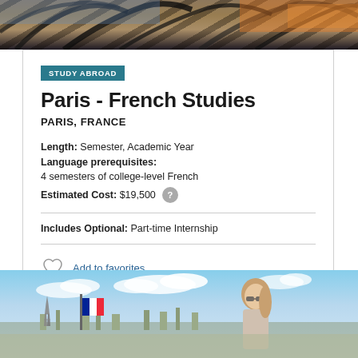[Figure (photo): Top decorative photo showing abstract iron/metal structure with warm sunset tones]
STUDY ABROAD
Paris - French Studies
PARIS, FRANCE
Length: Semester, Academic Year
Language prerequisites: 4 semesters of college-level French
Estimated Cost: $19,500
Includes Optional: Part-time Internship
Add to favorites
[Figure (photo): Photo of student in Paris with Eiffel Tower and French flag visible in background, city skyline]